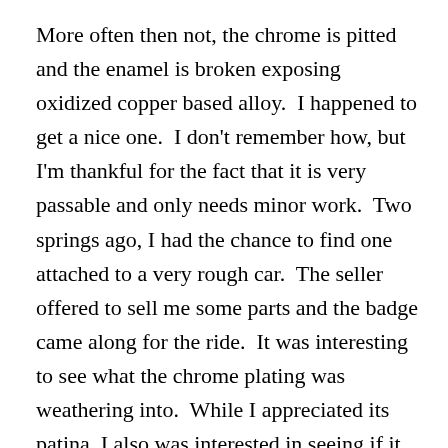More often then not, the chrome is pitted and the enamel is broken exposing oxidized copper based alloy.  I happened to get a nice one.  I don't remember how, but I'm thankful for the fact that it is very passable and only needs minor work.  Two springs ago, I had the chance to find one attached to a very rough car.  The seller offered to sell me some parts and the badge came along for the ride.  It was interesting to see what the chrome plating was weathering into.  While I appreciated its patina, I also was interested in seeing if it could be fixed.  To get a badge refurbished properly, you need to be prepared to pay